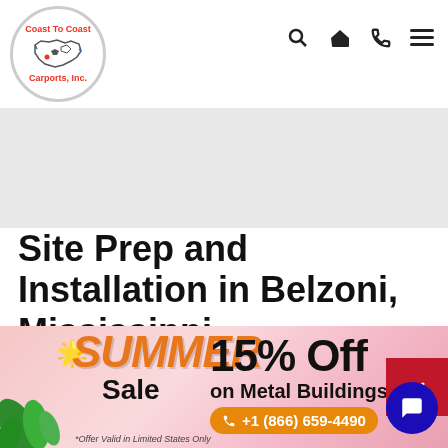[Figure (logo): Coast To Coast Carports, Inc. logo inside a gray circle with a map of the USA]
[Figure (infographic): Navigation icons: search (magnifying glass), home, phone, hamburger menu]
Site Prep and Installation in Belzoni, Mississippi
Before we can install your steel RV cover, there are a few things that you (the customer) must complete
[Figure (infographic): Summer Sale banner: SUMMER Sale text in orange/black, 15% Off on Metal Buildings in black, phone number +1 (866) 659-4490 in orange pill, *Offer Valid in Limited States Only note, decorative tropical leaves and star emoji, blue chat button]